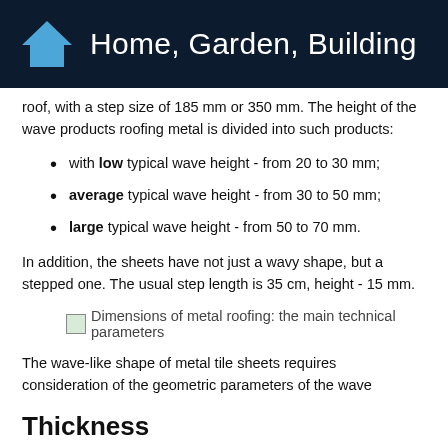Home, Garden, Building
roof, with a step size of 185 mm or 350 mm. The height of the wave products roofing metal is divided into such products:
with low typical wave height - from 20 to 30 mm;
average typical wave height - from 30 to 50 mm;
large typical wave height - from 50 to 70 mm.
In addition, the sheets have not just a wavy shape, but a stepped one. The usual step length is 35 cm, height - 15 mm.
[Figure (photo): Dimensions of metal roofing: the main technical parameters]
Dimensions of metal roofing: the main technical parameters
The wave-like shape of metal tile sheets requires consideration of the geometric parameters of the wave
Thickness
The thickness of the metal tile is not the thickness of the product in general, and its metal base. This indicator directly affects the performance properties of the roof of metal sheets. Most products have